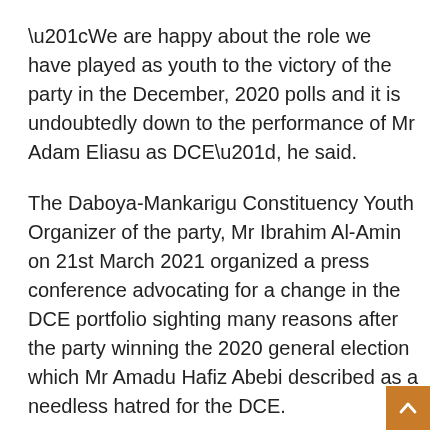“We are happy about the role we have played as youth to the victory of the party in the December, 2020 polls and it is undoubtedly down to the performance of Mr Adam Eliasu as DCE”, he said.
The Daboya-Mankarigu Constituency Youth Organizer of the party, Mr Ibrahim Al-Amin on 21st March 2021 organized a press conference advocating for a change in the DCE portfolio sighting many reasons after the party winning the 2020 general election which Mr Amadu Hafiz Abebi described as a needless hatred for the DCE.
Source: nkilgifmonline.com